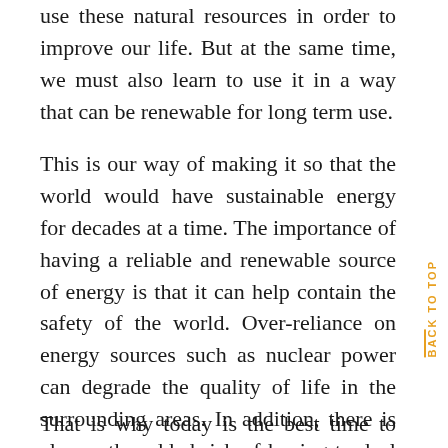use these natural resources in order to improve our life. But at the same time, we must also learn to use it in a way that can be renewable for long term use.
This is our way of making it so that the world would have sustainable energy for decades at a time. The importance of having a reliable and renewable source of energy is that it can help contain the safety of the world. Over-reliance on energy sources such as nuclear power can degrade the quality of life in the surrounding areas. In addition, there is always the added risk of having to deal with the lack of resources over time when using nuclear power.
That is why today is the best time to start making a